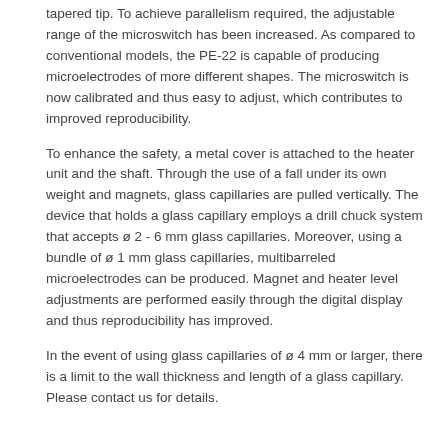tapered tip.  To achieve parallelism required, the adjustable range of the microswitch has been increased.  As compared to conventional models, the PE-22 is capable of producing microelectrodes of more different shapes.  The microswitch is now calibrated and thus easy to adjust, which contributes to improved reproducibility.
To enhance the safety, a metal cover is attached to the heater unit and the shaft.  Through the use of a fall under its own weight and magnets, glass capillaries are pulled vertically.  The device that holds a glass capillary employs a drill chuck system that accepts ø 2 - 6 mm glass capillaries.  Moreover, using a bundle of ø 1 mm glass capillaries, multibarreled microelectrodes can be produced.  Magnet and heater level adjustments are performed easily through the digital display and thus reproducibility has improved.
In the event of using glass capillaries of ø 4 mm or larger, there is a limit to the wall thickness and length of a glass capillary.  Please contact us for details.
Specifications
Accessories included:
Glass Capillaries (2 mm)